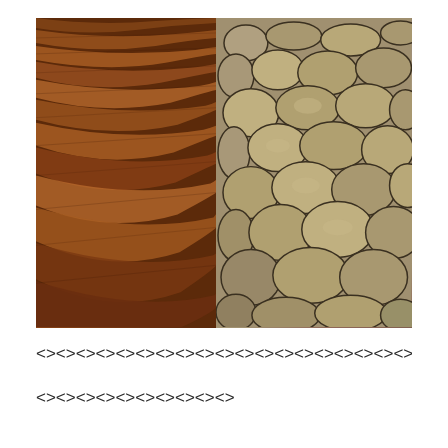[Figure (photo): Split composite photograph: left half shows rippled reddish-brown sand dunes with diagonal wind-carved striations; right half shows a dry cracked earth surface with rounded cobblestone-like mud polygons in gray-brown tones.]
<><><><><><><><><><><><><><><><><><><><><><><><>
<><><><><><><><><>